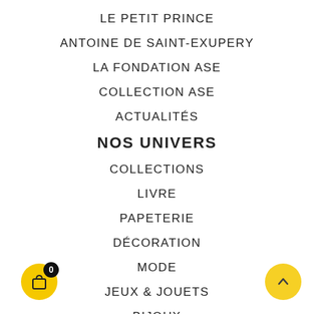LE PETIT PRINCE
ANTOINE DE SAINT-EXUPERY
LA FONDATION ASE
COLLECTION ASE
ACTUALITÉS
NOS UNIVERS
COLLECTIONS
LIVRE
PAPETERIE
DÉCORATION
MODE
JEUX & JOUETS
BIJOUX
ÉLÉMENT